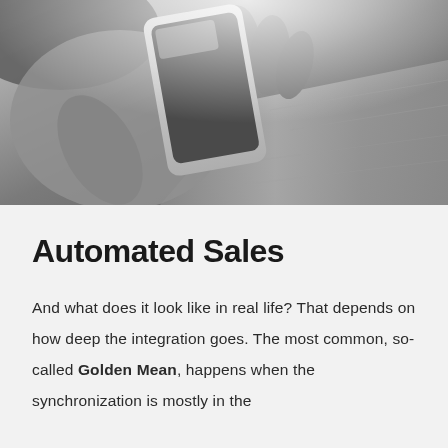[Figure (photo): Black and white close-up photograph of a hand holding a smartphone, with a wooden surface visible in the background.]
Automated Sales
And what does it look like in real life? That depends on how deep the integration goes. The most common, so-called Golden Mean, happens when the synchronization is mostly in the